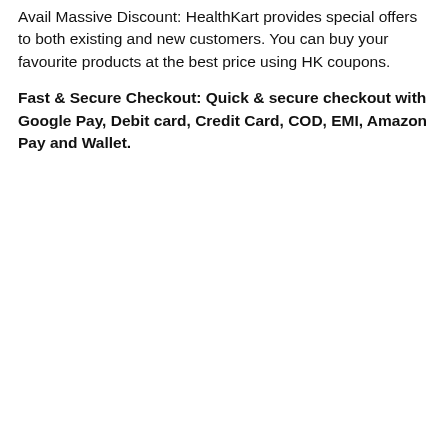Avail Massive Discount: HealthKart provides special offers to both existing and new customers. You can buy your favourite products at the best price using HK coupons.
Fast & Secure Checkout: Quick & secure checkout with Google Pay, Debit card, Credit Card, COD, EMI, Amazon Pay and Wallet.